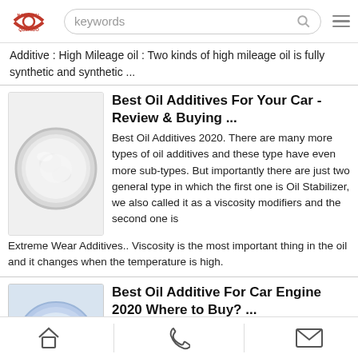[Figure (screenshot): NacionalQuerido website header with logo, search bar with 'keywords' placeholder, and hamburger menu icon]
Additive : High Mileage oil : Two kinds of high mileage oil is fully synthetic and synthetic ...
[Figure (photo): Round metallic container/tin with white powdery substance inside]
Best Oil Additives For Your Car - Review & Buying ...
Best Oil Additives 2020. There are many more types of oil additives and these type have even more sub-types. But importantly there are just two general type in which the first one is Oil Stabilizer, we also called it as a viscosity modifiers and the second one is Extreme Wear Additives.. Viscosity is the most important thing in the oil and it changes when the temperature is high.
[Figure (photo): Blue circular petri dish or container with white powdery/crystalline substance]
Best Oil Additive For Car Engine 2020 Where to Buy? ...
2 Best Oil Additive For Car Engine Reviews; 3 Offers and Discounts; 4 Cheap Oil Additive For Car Engine; 5 Buy Oil Additive For Car Engine Online. 5.1 Liqui Moly (20002) Cera Tec Friction Modifier - 300 ml; 5.2 TriboTEX
[Figure (screenshot): Bottom navigation bar with home, phone, and mail icons]